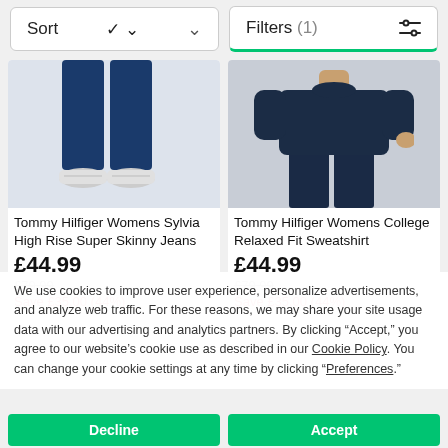Sort   Filters (1)
[Figure (photo): Tommy Hilfiger Womens Sylvia High Rise Super Skinny Jeans - product photo showing lower body with dark blue jeans and white sneakers]
Tommy Hilfiger Womens Sylvia High Rise Super Skinny Jeans
£44.99
£79.99
Save £35.00 (44%)
[Figure (photo): Tommy Hilfiger Womens College Relaxed Fit Sweatshirt - product photo showing upper body with dark navy sweatshirt and dark jeans]
Tommy Hilfiger Womens College Relaxed Fit Sweatshirt
£44.99
£79.99
Save £35.00 (44%)
We use cookies to improve user experience, personalize advertisements, and analyze web traffic. For these reasons, we may share your site usage data with our advertising and analytics partners. By clicking "Accept," you agree to our website's cookie use as described in our Cookie Policy. You can change your cookie settings at any time by clicking "Preferences."